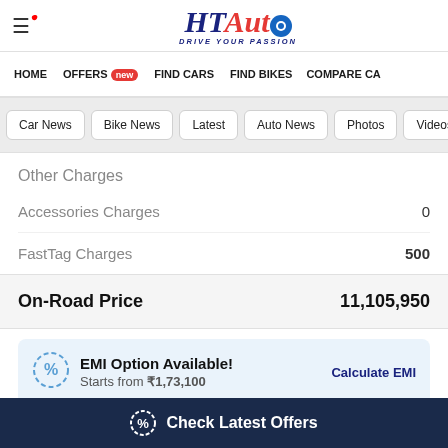HT Auto - Drive Your Passion
HOME | OFFERS new | FIND CARS | FIND BIKES | COMPARE CA...
Car News | Bike News | Latest | Auto News | Photos | Videos
| Item | Amount |
| --- | --- |
| Other Charges |  |
| Accessories Charges | 0 |
| FastTag Charges | 500 |
| On-Road Price | 11,105,950 |
EMI Option Available! Starts from ₹1,73,100
Calculate EMI
Check Latest Offers